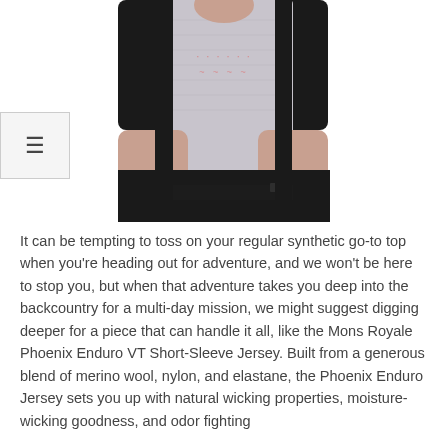[Figure (photo): A person wearing a gray and black short-sleeve merino wool jersey (Mons Royale Phoenix Enduro VT Short-Sleeve Jersey), cropped to show the torso and arms, with black pants.]
It can be tempting to toss on your regular synthetic go-to top when you're heading out for adventure, and we won't be here to stop you, but when that adventure takes you deep into the backcountry for a multi-day mission, we might suggest digging deeper for a piece that can handle it all, like the Mons Royale Phoenix Enduro VT Short-Sleeve Jersey. Built from a generous blend of merino wool, nylon, and elastane, the Phoenix Enduro Jersey sets you up with natural wicking properties, moisture-wicking goodness, and odor fighting